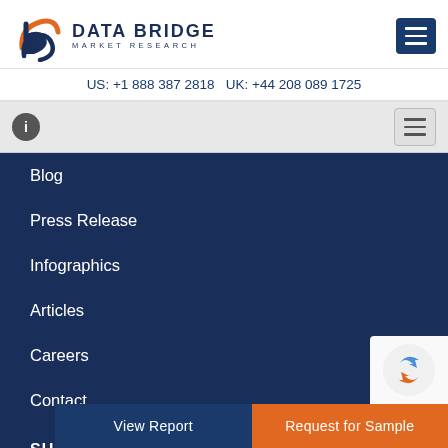[Figure (logo): Data Bridge Market Research logo with orange and navy blue 'b' symbol and company name text]
US: +1 888 387 2818 UK: +44 208 089 1725
Blog
Press Release
Infographics
Articles
Careers
Contact
SUPPORT
How To Order
View Report
Request for Sample